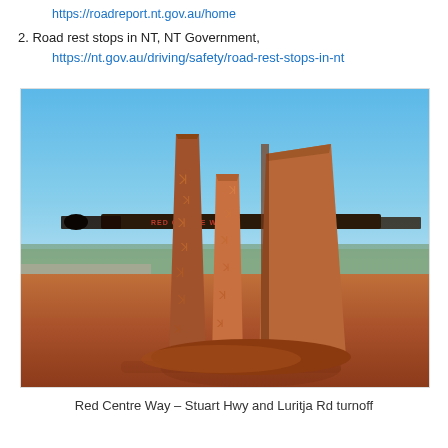https://roadreport.nt.gov.au/home
2. Road rest stops in NT, NT Government, https://nt.gov.au/driving/safety/road-rest-stops-in-nt
[Figure (photo): Photograph of the Red Centre Way sculpture/sign at the Stuart Hwy and Luritja Rd turnoff. Three large vertical steel panels with kangaroo cut-outs and a horizontal bar reading 'RED CENTRE WAY', set against a bright blue sky with red desert soil in the foreground.]
Red Centre Way – Stuart Hwy and Luritja Rd turnoff